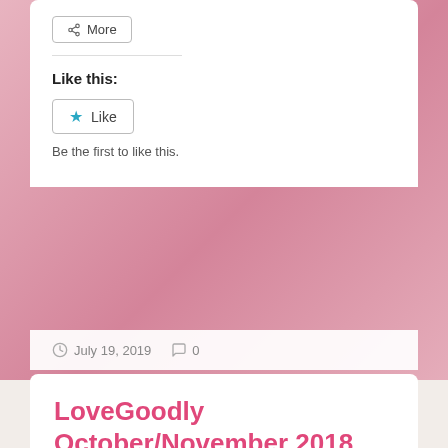More
Like this:
Like
Be the first to like this.
July 19, 2019   0
LoveGoodly October/November 2018 VIP box
[Figure (photo): Product photo showing beauty/cosmetic items including a Bite product and a blue item on white background]